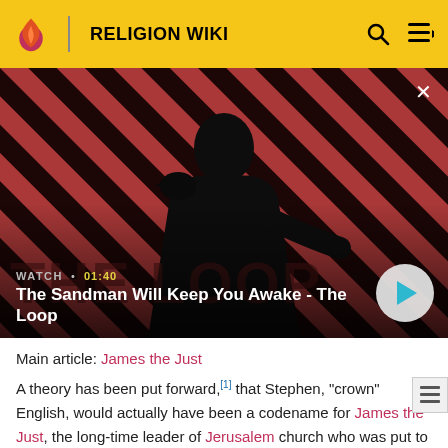RELIGION WIKI
[Figure (screenshot): Video thumbnail showing a dark-cloaked figure with a raven on shoulder against a red and black diagonal striped background. Title reads 'The Sandman Will Keep You Awake - The Loop'. Watch time 01:40 shown with play button.]
Main article: James the Just
A theory has been put forward,[1] that Stephen, "crown" English, would actually have been a codename for James the Just, the long-time leader of Jerusalem church who was put to trial by Sanhedrin and stoned in about 62 AD,